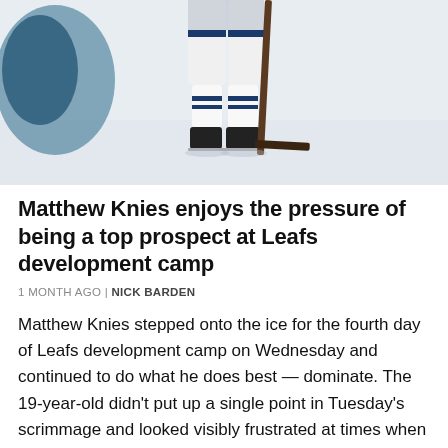[Figure (photo): Hockey player in blue and white Toronto Maple Leafs uniform and skates on ice, photographed from mid-body down, holding a stick]
Matthew Knies enjoys the pressure of being a top prospect at Leafs development camp
1 MONTH AGO | NICK BARDEN
Matthew Knies stepped onto the ice for the fourth day of Leafs development camp on Wednesday and continued to do what he does best — dominate. The 19-year-old didn't put up a single point in Tuesday's scrimmage and looked visibly frustrated at times when he couldn't get anything going. Coming into Leafs development camp —